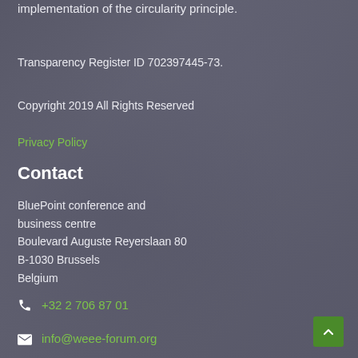implementation of the circularity principle.
Transparency Register ID 702397445-73.
Copyright 2019 All Rights Reserved
Privacy Policy
Contact
BluePoint conference and business centre
Boulevard Auguste Reyerslaan 80
B-1030 Brussels
Belgium
+32 2 706 87 01
info@weee-forum.org